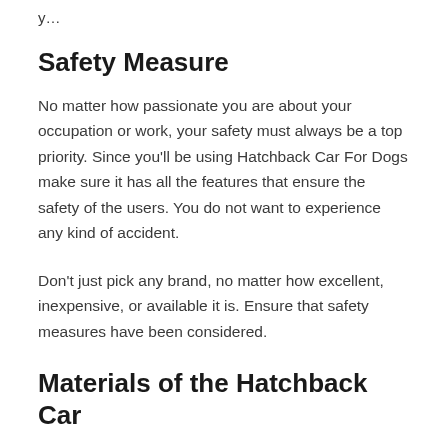y…
Safety Measure
No matter how passionate you are about your occupation or work, your safety must always be a top priority. Since you'll be using Hatchback Car For Dogs make sure it has all the features that ensure the safety of the users. You do not want to experience any kind of accident.
Don't just pick any brand, no matter how excellent, inexpensive, or available it is. Ensure that safety measures have been considered.
Materials of the Hatchback Car